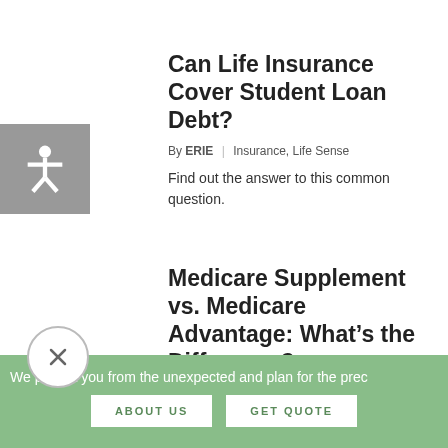Can Life Insurance Cover Student Loan Debt?
By ERIE | Insurance, Life Sense
Find out the answer to this common question.
Medicare Supplement vs. Medicare Advantage: What’s the Difference?
We protect you from the unexpected and plan for the prec
ABOUT US
GET QUOTE